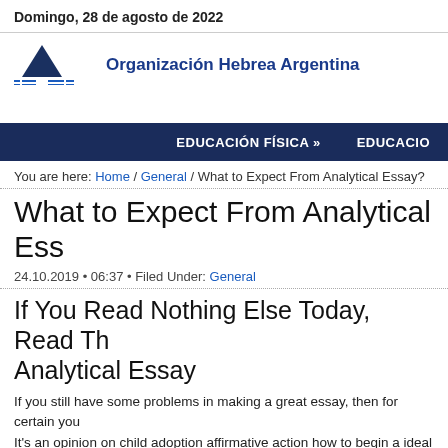Domingo, 28 de agosto de 2022
[Figure (logo): Organizacion Hebrea Argentina logo with triangle and lines]
Organización Hebrea Argentina
EDUCACIÓN FÍSICA »   EDUCACIO
You are here: Home / General / What to Expect From Analytical Essay?
What to Expect From Analytical Ess
24.10.2019 • 06:37 • Filed Under: General
If You Read Nothing Else Today, Read Th Analytical Essay
If you still have some problems in making a great essay, then for certain you It's an opinion on child adoption affirmative action how to begin a ideal resea style of thinking that doesn't need any kind of education to achieve that.
The Appeal of Analytical Essay